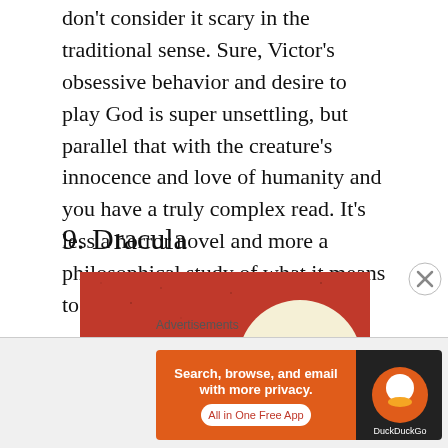don't consider it scary in the traditional sense. Sure, Victor's obsessive behavior and desire to play God is super unsettling, but parallel that with the creature's innocence and love of humanity and you have a truly complex read. It's less a horror novel and more a philosophical study of what it means to be human.
9. Dracula
[Figure (illustration): Book cover of Dracula — red/orange textured background with the word DRACULA in large bold black letters, where the letter U is inside a cream-colored circle]
Advertisements
[Figure (screenshot): DuckDuckGo advertisement banner: orange/black background with text 'Search, browse, and email with more privacy. All in One Free App' and DuckDuckGo logo]